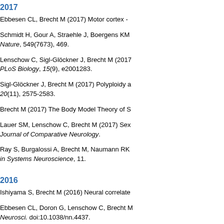2017
Ebbesen CL, Brecht M (2017) Motor cortex -
Schmidt H, Gour A, Straehle J, Boergens KM … Nature, 549(7673), 469.
Lenschow C, Sigl-Glöckner J, Brecht M (2017… PLoS Biology, 15(9), e2001283.
Sigl-Glöckner J, Brecht M (2017) Polyploidy a… 20(11), 2575-2583.
Brecht M (2017) The Body Model Theory of S…
Lauer SM, Lenschow C, Brecht M (2017) Sex… Journal of Comparative Neurology.
Ray S, Burgalossi A, Brecht M, Naumann RK… in Systems Neuroscience, 11.
2016
Ishiyama S, Brecht M (2016) Neural correlate…
Ebbesen CL, Doron G, Lenschow C, Brecht M… Neurosci. doi:10.1038/nn.4437.
Doose J, Doron G, Brecht M, Lindner B (2016… Frequency Coding in Single Neurons. J. Neur…